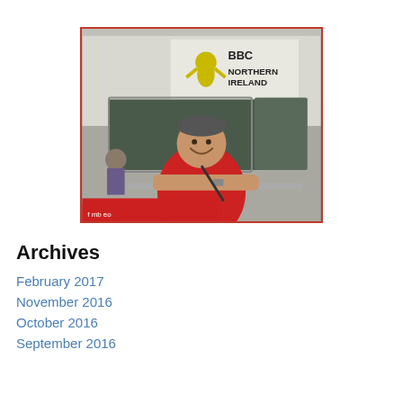[Figure (photo): A man wearing a red polo shirt leaning on a metal railing in front of a BBC Northern Ireland branded bus. The BBC Northern Ireland logo with yellow figure is visible on the bus. There are red signs at the bottom of the image with Irish text.]
Archives
February 2017
November 2016
October 2016
September 2016